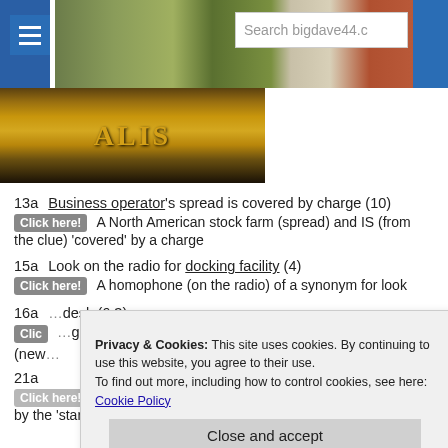[Figure (screenshot): Website header banner with hamburger menu icon, landscape photo background, search box reading 'Search bigdave44.co', and a blue button on right]
[Figure (photo): Gold coin or badge partially visible against dark background]
13a   Business operator's spread is covered by charge (10)
Click here!  A North American stock farm (spread) and IS (from the clue) 'covered' by a charge
15a   Look on the radio for docking facility (4)
Click here!  A homophone (on the radio) of a synonym for look
16a  ...desk (6,3)  Click here!  ...gram (new...
21a
Click here!  The Latin abbreviation meaning 'and the rest' followed by the 'start' to Hope
Privacy & Cookies: This site uses cookies. By continuing to use this website, you agree to their use.
To find out more, including how to control cookies, see here: Cookie Policy
Close and accept